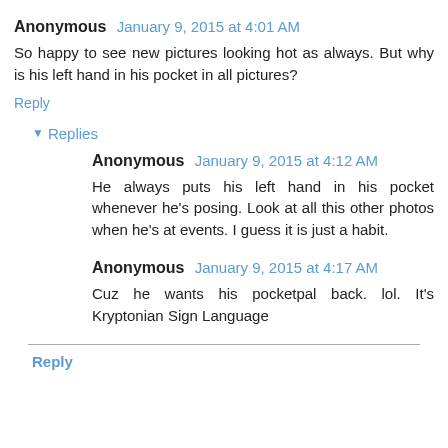Anonymous January 9, 2015 at 4:01 AM
So happy to see new pictures looking hot as always. But why is his left hand in his pocket in all pictures?
Reply
▾ Replies
Anonymous January 9, 2015 at 4:12 AM
He always puts his left hand in his pocket whenever he's posing. Look at all this other photos when he's at events. I guess it is just a habit.
Anonymous January 9, 2015 at 4:17 AM
Cuz he wants his pocketpal back. lol. It's Kryptonian Sign Language
Reply